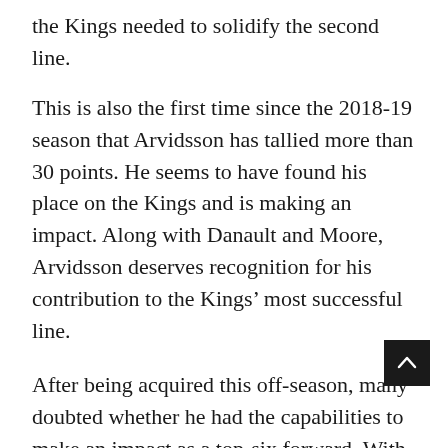the Kings needed to solidify the second line.
This is also the first time since the 2018-19 season that Arvidsson has tallied more than 30 points. He seems to have found his place on the Kings and is making an impact. Along with Danault and Moore, Arvidsson deserves recognition for his contribution to the Kings' most successful line.
After being acquired this off-season, many doubted whether he had the capabilities to make an impact as a top-six forward. With his skill and style of play, Arvidsson has definitively put those doubts to rest as Rob Blake's trade continues to exceed everyone's expectations.